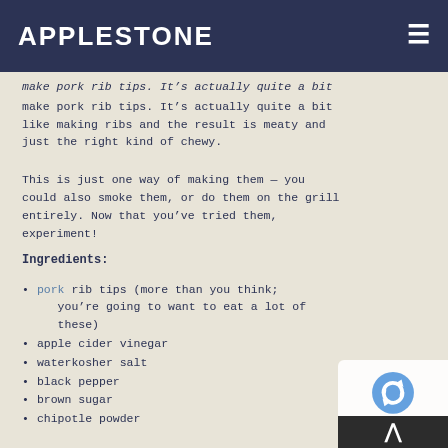APPLESTONE
make pork rib tips. It's actually quite a bit like making ribs and the result is meaty and just the right kind of chewy.
This is just one way of making them — you could also smoke them, or do them on the grill entirely. Now that you've tried them, experiment!
Ingredients:
pork rib tips (more than you think; you're going to want to eat a lot of these)
apple cider vinegar
waterkosher salt
black pepper
brown sugar
chipotle powder